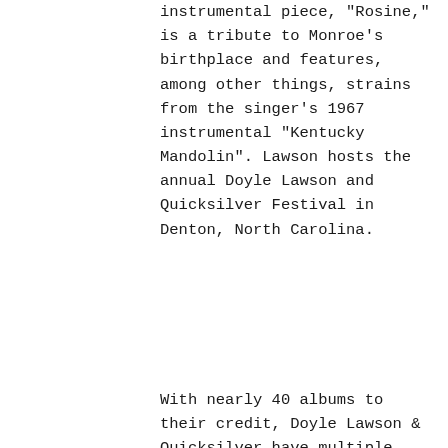instrumental piece, "Rosine," is a tribute to Monroe's birthplace and features, among other things, strains from the singer's 1967 instrumental "Kentucky Mandolin". Lawson hosts the annual Doyle Lawson and Quicksilver Festival in Denton, North Carolina.
With nearly 40 albums to their credit, Doyle Lawson & Quicksilver have multiple Grammy, Dove, ICM, IBMA and SPBGMA Award nominations, and are 7-time winners of IBMA's Vocal Group of the Year.
[Figure (screenshot): YouTube video embed showing Doyle Lawson & Quicks... with Roots channel icon and dark video background with faces visible]